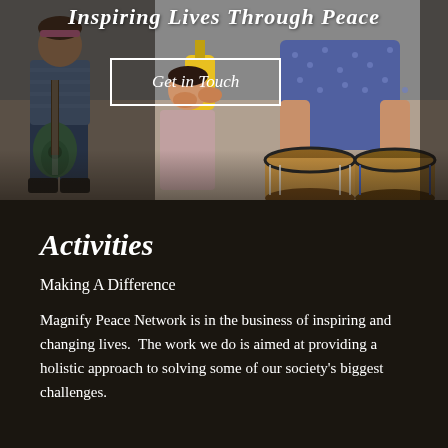[Figure (photo): Children and adults sitting together playing musical instruments including a guitar and bongo drums, with a title overlay 'Inspiring Lives Through Peace' and a 'Get in Touch' button]
Inspiring Lives Through Peace
Get in Touch
Activities
Making A Difference
Magnify Peace Network is in the business of inspiring and changing lives.  The work we do is aimed at providing a holistic approach to solving some of our society's biggest challenges.